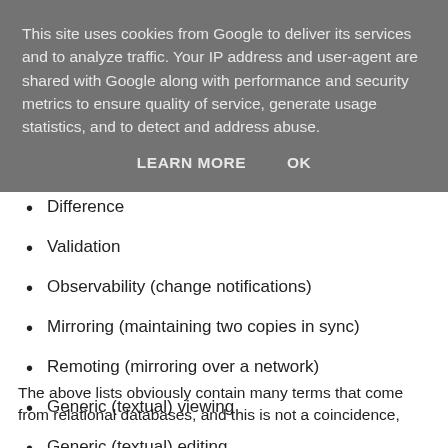This site uses cookies from Google to deliver its services and to analyze traffic. Your IP address and user-agent are shared with Google along with performance and security metrics to ensure quality of service, generate usage statistics, and to detect and address abuse.
LEARN MORE   OK
Difference
Validation
Observability (change notifications)
Mirroring (maintaining two copies in sync)
Remoting (mirroring over a network)
Generic (textual) viewing
Generic (textual) editing
The above lists obviously contain many terms that come from relational databases, and this is not a coincidence,